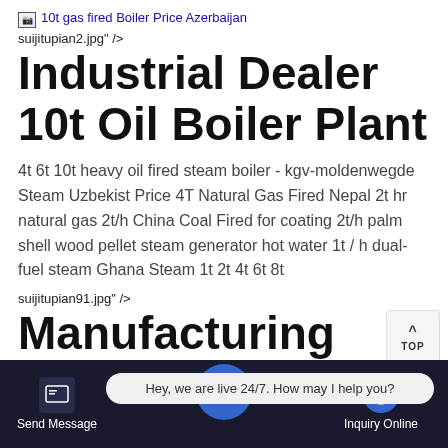[Figure (other): Broken image link showing '10t gas fired Boiler Price Azerbaijan' as blue hyperlink text with broken image icon]
suijitupian2.jpg" />
Industrial Dealer 10t Oil Boiler Plant
4t 6t 10t heavy oil fired steam boiler - kgv-moldenwegde Steam Uzbekist Price 4T Natural Gas Fired Nepal 2t hr natural gas 2t/h China Coal Fired for coating 2t/h palm shell wood pellet steam generator hot water 1t / h dual-fuel steam Ghana Steam 1t 2t 4t 6t 8t
suijitupian91.jpg" />
Manufacturing Companies 8t Gas
Send Message   Hey, we are live 24/7. How may I help you?   Inquiry Online